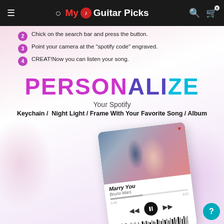My Guitar Picks — navigation bar
2 Chick on the search bar and press the button.
3 Point your camera at the "spotify code" engraved.
4 CREAT!Now you can listen your song.
PERSONALIZE
Your Spotify
Keychain /  Night Light / Frame With Your Favorite Song / Album
[Figure (infographic): Spotify card product mockup showing a couple photo, song title 'Marry You' by Bruno Mars, playback controls, and a Spotify barcode. Annotated with labels: 'The Album Cover Or Your Photo', 'Your Favorite Song', 'Artist Or Your Name', 'Spotify Code'.]